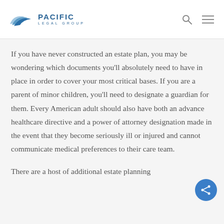Pacific Legal Group
If you have never constructed an estate plan, you may be wondering which documents you'll absolutely need to have in place in order to cover your most critical bases. If you are a parent of minor children, you'll need to designate a guardian for them. Every American adult should also have both an advance healthcare directive and a power of attorney designation made in the event that they become seriously ill or injured and cannot communicate medical preferences to their care team.
There are a host of additional estate planning